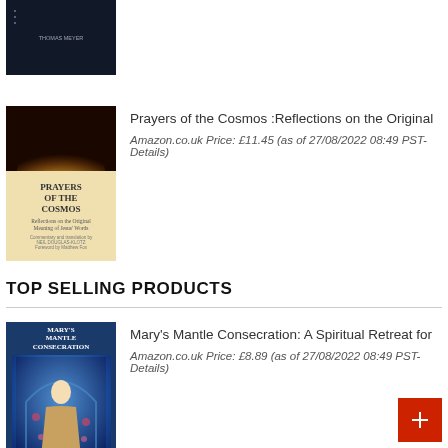[Figure (photo): Book cover - dark background with author name Thomas Meyer]
[Figure (photo): Book cover - Prayers of the Cosmos with sun/light image at top and text below]
Prayers of the Cosmos :Reflections on the Original
Amazon.co.uk Price: £11.45 (as of 27/08/2022 08:49 PST- Details)
TOP SELLING PRODUCTS
[Figure (photo): Book cover - Mary's Mantle Consecration with Virgin Mary image]
Mary's Mantle Consecration: A Spiritual Retreat for
Amazon.co.uk Price: £8.89 (as of 27/08/2022 08:49 PST- Details)
[Figure (photo): Book cover - The Memorization Study Bible]
The Memorization Study Bible